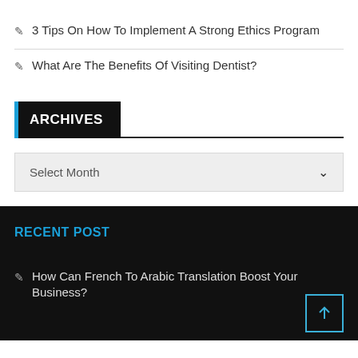✎  3 Tips On How To Implement A Strong Ethics Program
✎  What Are The Benefits Of Visiting Dentist?
ARCHIVES
Select Month
RECENT POST
✎  How Can French To Arabic Translation Boost Your Business?